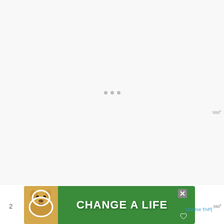[Figure (screenshot): Mostly blank/loading page area with faint grey dots in center indicating loading state]
[Figure (other): Advertisement banner with green background showing a dog and text 'CHANGE A LIFE' with a heart icon and a close button]
2
[Source TAP]
ww°